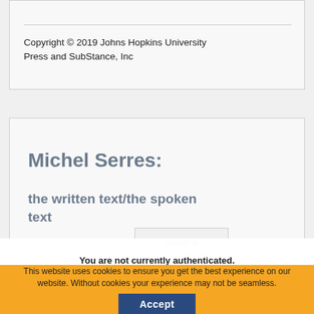Copyright © 2019 Johns Hopkins University Press and SubStance, Inc
Michel Serres:
the written text/the spoken text
collapse
You are not currently authenticated.
If you would like to authenticate using a different subscribed institution or
This website uses cookies to ensure you get the best experience on our website. Without cookies your experience may not be seamless.
Accept